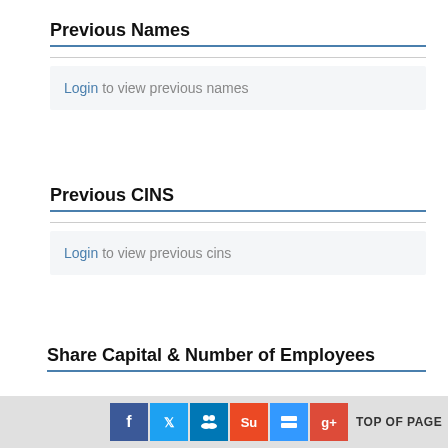Previous Names
Login to view previous names
Previous CINS
Login to view previous cins
Share Capital & Number of Employees
TOP OF PAGE